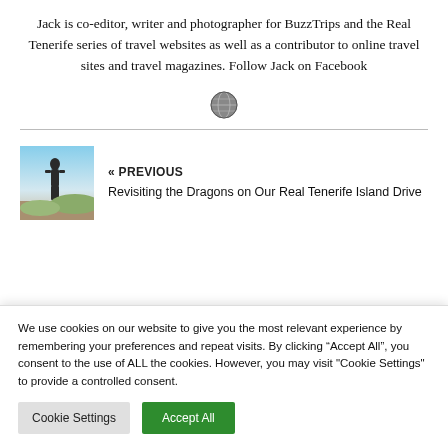Jack is co-editor, writer and photographer for BuzzTrips and the Real Tenerife series of travel websites as well as a contributor to online travel sites and travel magazines. Follow Jack on Facebook
[Figure (illustration): Small globe icon in dark grey]
« PREVIOUS
Revisiting the Dragons on Our Real Tenerife Island Drive
NEXT »
We use cookies on our website to give you the most relevant experience by remembering your preferences and repeat visits. By clicking “Accept All”, you consent to the use of ALL the cookies. However, you may visit "Cookie Settings" to provide a controlled consent.